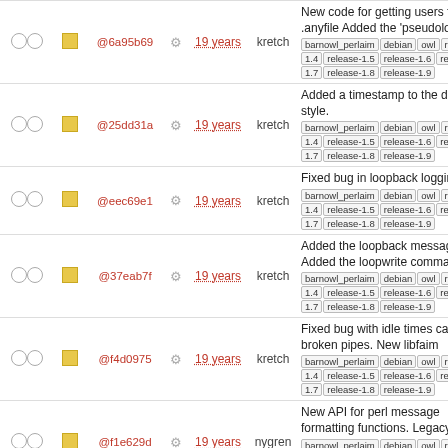|  |  | Hash |  | Age | Author | Description |
| --- | --- | --- | --- | --- | --- | --- |
| ○○ | ■ | @6a95b69 | ⚙ | 19 years | kretch | New code for getting users fro... .anyfile Added the 'pseudologin... barnowl_perlaim debian owl re... 1.4 release-1.5 release-1.6 rele... 1.7 release-1.8 release-1.9 |
| ○○ | ■ | @25dd31a | ⚙ | 19 years | kretch | Added a timestamp to the defa... style. barnowl_perlaim debian owl re... 1.4 release-1.5 release-1.6 rele... 1.7 release-1.8 release-1.9 |
| ○○ | ■ | @eec69e1 | ⚙ | 19 years | kretch | Fixed bug in loopback logging barnowl_perlaim debian owl re... 1.4 release-1.5 release-1.6 rele... 1.7 release-1.8 release-1.9 |
| ○○ | ■ | @37eab7f | ⚙ | 19 years | kretch | Added the loopback message t... Added the loopwrite command barnowl_perlaim debian owl re... 1.4 release-1.5 release-1.6 rele... 1.7 release-1.8 release-1.9 |
| ○○ | ■ | @f4d0975 | ⚙ | 19 years | kretch | Fixed bug with idle times causi... broken pipes. New libfaim barnowl_perlaim debian owl re... 1.4 release-1.5 release-1.6 rele... 1.7 release-1.8 release-1.9 |
| ○○ | ■ | @f1e629d | ⚙ | 19 years | nygren | New API for perl message formatting functions. Legacy ... barnowl_perlaim debian owl re... 1.4 release-1.5 release-1.6 rele... 1.7 release-1.8 release-1.9 |
| ○○ | ■ | @9ceee9d | ⚙ | 19 years | kretch | There is now a zcrypt comman... Replies to zcrypted messages work barnowl_perlaim debian owl re... |